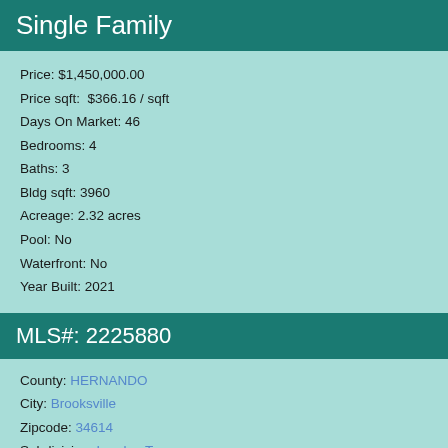Single Family
Price: $1,450,000.00
Price sqft:  $366.16 / sqft
Days On Market: 46
Bedrooms: 4
Baths: 3
Bldg sqft: 3960
Acreage: 2.32 acres
Pool: No
Waterfront: No
Year Built: 2021
MLS#: 2225880
County: HERNANDO
City: Brooksville
Zipcode: 34614
Subdivision: London Terrace
Elementary School: Winding Waters K 8
Middle School: Winding Waters K 8